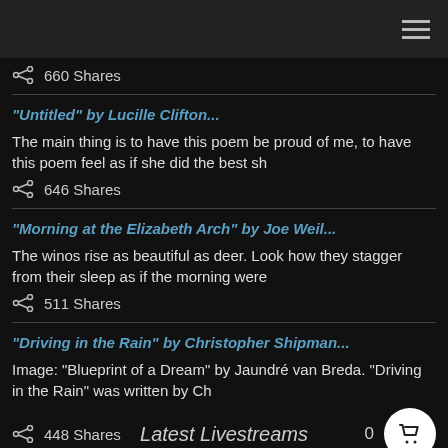660 Shares
“Untitled” by Lucille Clifton...
The main thing is to have this poem be proud of me, to have this poem feel as if she did the best sh
646 Shares
“Morning at the Elizabeth Arch” by Joe Weil...
The winos rise as beautiful as deer. Look how they stagger from their sleep as if the morning were
511 Shares
“Driving in the Rain” by Christopher Shipman...
Image: “Blueprint of a Dream” by Jaundré van Breda. “Driving in the Rain” was written by Ch
448 Shares
Latest Livestreams